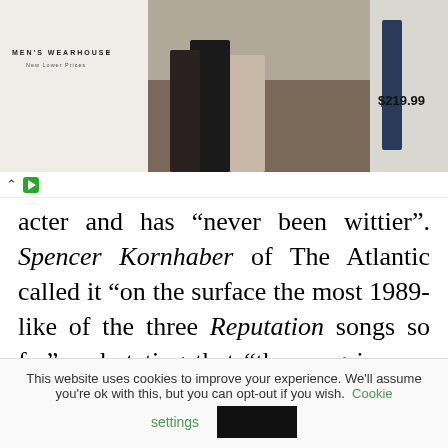[Figure (photo): Men's Wearhouse advertisement banner showing a couple in formal wear and a man in a suit, with price $219.99]
acter and has “never been wittier”. Spencer Kornhaber of The Atlantic called it “on the surface the most 1989-like of the three Reputation songs so far” and stating that “the song is very catchy and refreshingly straightforward”. In a mixed review, Frank
This website uses cookies to improve your experience. We’ll assume you’re ok with this, but you can opt-out if you wish. Cookie settings